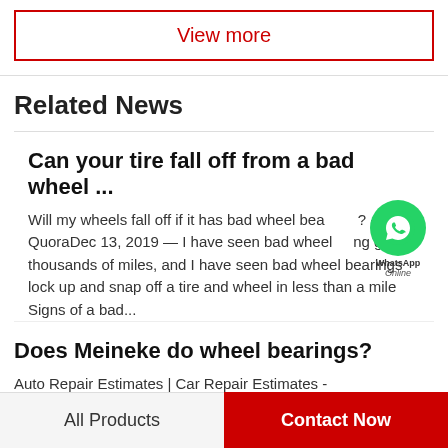View more
Related News
Can your tire fall off from a bad wheel ...
Will my wheels fall off if it has bad wheel bea...? - QuoraDec 13, 2019 — I have seen bad wheel ...ng go for thousands of miles, and I have seen bad wheel bearings lock up and snap off a tire and wheel in less than a mile Signs of a bad...
Does Meineke do wheel bearings?
Auto Repair Estimates | Car Repair Estimates - Mido...Wheel Alignment - Tire Balancing - TRMS
All Products
Contact Now